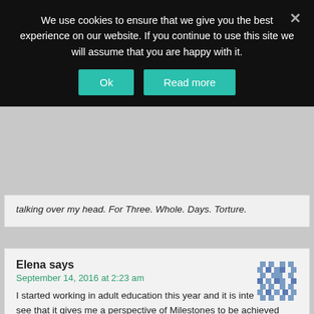We use cookies to ensure that we give you the best experience on our website. If you continue to use this site we will assume that you are happy with it.
Ok | Read more
talking over my head. For Three. Whole. Days. Torture.
Elena says
September 14, 2016 at 2:23 am
I started working in adult education this year and it is interesting to see that it gives me a perspective of Milestones to be achieved again. For example I have responsibility for the Students in a new class that just started and I know that I am supposed to